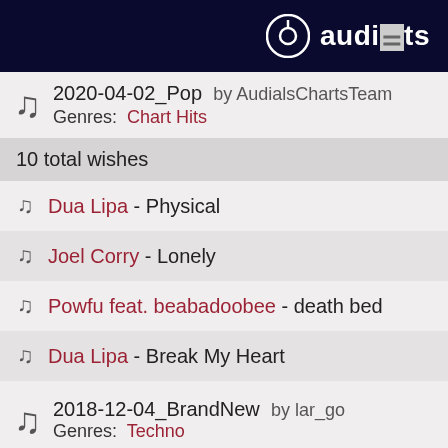audials
2020-04-02_Pop by AudialsChartsTeam
Genres: Chart Hits
10 total wishes
Dua Lipa - Physical
Joel Corry - Lonely
Powfu feat. beabadoobee - death bed
Dua Lipa - Break My Heart
Alec Benjamin - The Book of You&I
2018-12-04_BrandNew by lar_go
Genres: Techno